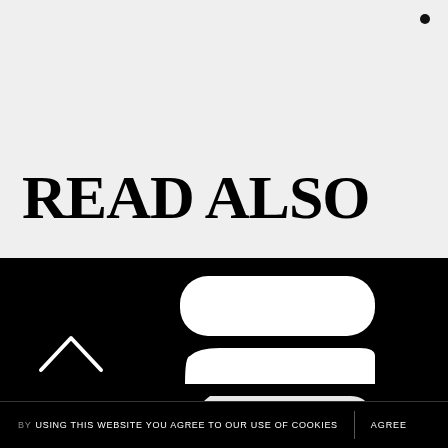READ ALSO
[Figure (logo): White car/automotive logo shapes on black background]
BY USING THIS WEBSITE YOU AGREE TO OUR USE OF COOKIES   AGREE